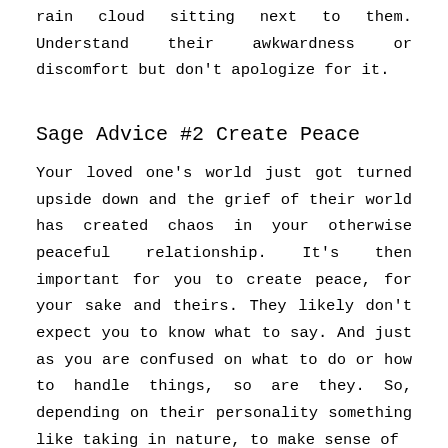rain cloud sitting next to them. Understand their awkwardness or discomfort but don't apologize for it.
Sage Advice #2 Create Peace
Your loved one's world just got turned upside down and the grief of their world has created chaos in your otherwise peaceful relationship. It's then important for you to create peace, for your sake and theirs. They likely don't expect you to know what to say. And just as you are confused on what to do or how to handle things, so are they. So, depending on their personality something like taking in nature, to make sense of